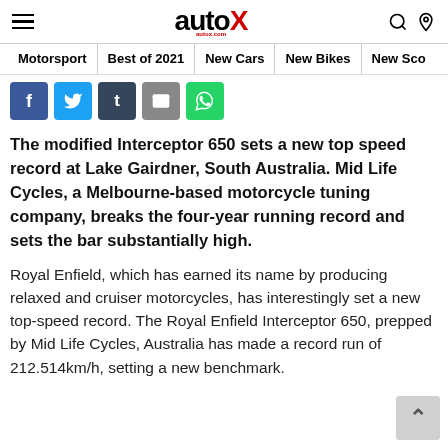autoX
Motorsport | Best of 2021 | New Cars | New Bikes | New Sco...
[Figure (other): Social share buttons: Facebook, Twitter, Tumblr, Email, WhatsApp]
The modified Interceptor 650 sets a new top speed record at Lake Gairdner, South Australia. Mid Life Cycles, a Melbourne-based motorcycle tuning company, breaks the four-year running record and sets the bar substantially high.
Royal Enfield, which has earned its name by producing relaxed and cruiser motorcycles, has interestingly set a new top-speed record. The Royal Enfield Interceptor 650, prepped by Mid Life Cycles, Australia has made a record run of 212.514km/h, setting a new benchmark.